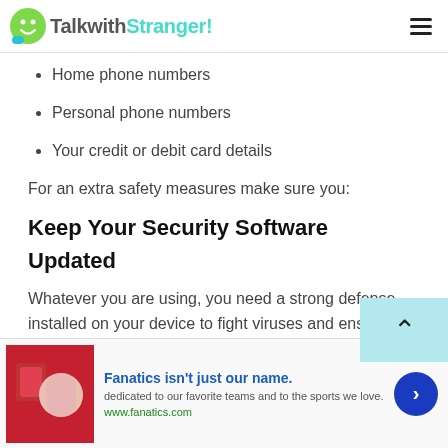TalkwithStranger!
Home phone numbers
Personal phone numbers
Your credit or debit card details
For an extra safety measures make sure you:
Keep Your Security Software Updated
Whatever you are using, you need a strong defense installed on your device to fight viruses and ensure your personal data stored on a certain device stays safe and
[Figure (screenshot): Advertisement banner for Fanatics with product image, headline 'Fanatics isn't just our name.', subtext, and CTA button]